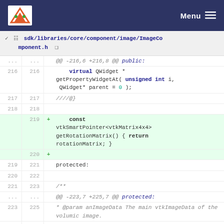Menu
sdk/libraries/core/component/image/ImageComponent.h
[Figure (screenshot): Git diff view of ImageComponent.h showing added lines 219-220 with const vtkSmartPointer<vtkMatrix4x4> getRotationMatrix() { return rotationMatrix; } and surrounding context lines 216-225]
@@ -216,6 +216,8 @@ public:
216  virtual QWidget * getPropertyWidgetAt( unsigned int i, QWidget* parent = 0 );
217  ////@}
218
219 + const vtkSmartPointer<vtkMatrix4x4> getRotationMatrix() { return rotationMatrix; }
220 +
219/221  protected:
220/222
221/223  /**
... @@ -223,7 +225,7 @@ protected:
223/225   * @param anImageData The main vtkImageData of the volumic image.
224/226   * @param conv Indicate if we